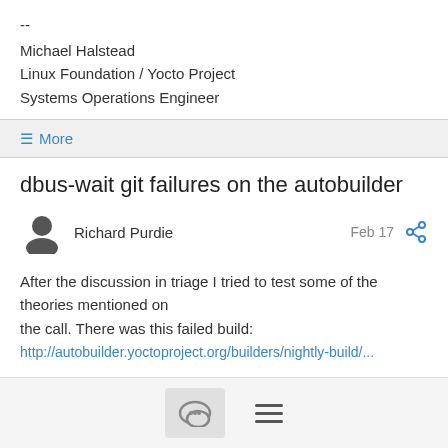--
Michael Halstead
Linux Foundation / Yocto Project
Systems Operations Engineer
≡ More
dbus-wait git failures on the autobuilder
Richard Purdie
Feb 17
After the discussion in triage I tried to test some of the theories mentioned on
the call. There was this failed build:
http://autobuilder.yoctoproject.org/builders/nightly-build/...